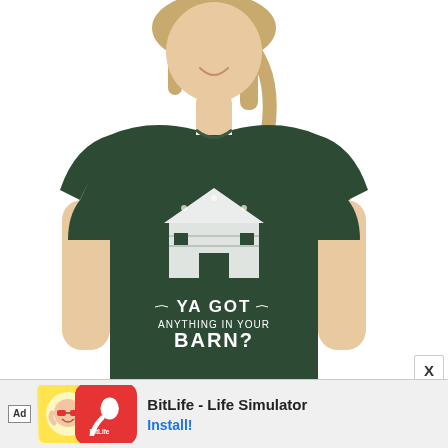[Figure (photo): A woman wearing a dark green heather t-shirt with a white barn graphic and text reading 'YA GOT ANYTHING IN YOUR BARN?' on a white background.]
[Figure (infographic): Mobile advertisement banner for 'BitLife - Life Simulator' app showing ad label, baby cartoon icon, BitLife red icon with sperm logo, app name, and Install button.]